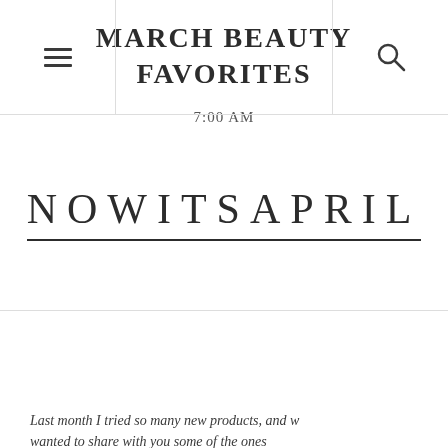NOWITSAPRIL — navigation header with hamburger menu and search icon
[Figure (logo): Blog logo text reading NOWITSAPRIL in large spaced serif capitals with underline]
MARCH BEAUTY FAVORITES
7:00 AM
Last month I tried so many new products, and wanted to share with you some of the ones